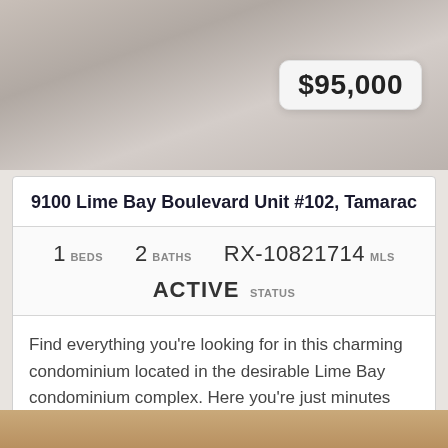[Figure (photo): Top portion of a property listing photo, sandy/muted tones, with a $95,000 price badge overlay in the upper right]
9100 Lime Bay Boulevard Unit #102, Tamarac
1 BEDS   2 BATHS   RX-10821714 MLS
ACTIVE STATUS
Find everything you're looking for in this charming condominium located in the desirable Lime Bay condominium complex. Here you're just minutes from everything you're loo...
[Figure (logo): BeachesMLS logo — wave/palm tree icon in blue and orange with 'BeachesMLS' text]
[Figure (photo): Bottom strip of another property listing photo, sandy/tan tones]